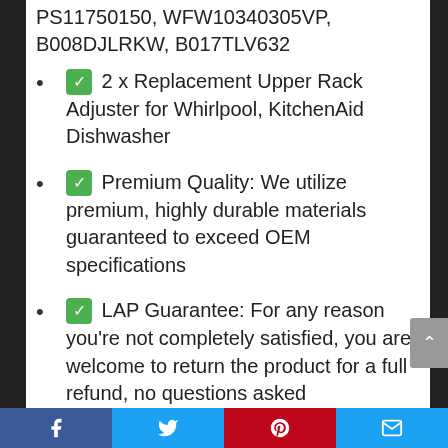PS11750150, WFW10340305VP, B008DJLRKW, B017TLV632
✅ 2 x Replacement Upper Rack Adjuster for Whirlpool, KitchenAid Dishwasher
✅ Premium Quality: We utilize premium, highly durable materials guaranteed to exceed OEM specifications
✅ LAP Guarantee: For any reason you're not completely satisfied, you are welcome to return the product for a full refund, no questions asked
✅ Fits models beginning with: KDFE10, KDTE, KDTM, KUDE, KDHE
Facebook  Twitter  Pinterest  Email